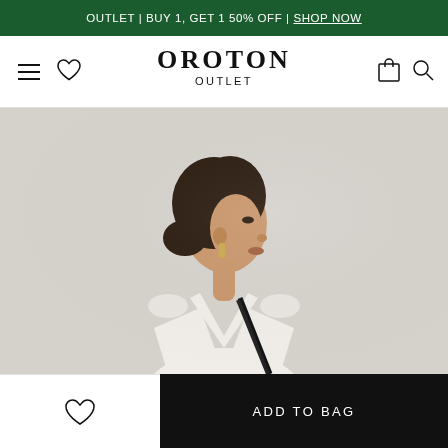OUTLET | BUY 1, GET 1 50% OFF | SHOP NOW
[Figure (logo): Oroton Outlet website navigation bar with hamburger menu, heart icon, OROTON OUTLET logotype, bag icon, and search icon]
[Figure (photo): Woman in profile view wearing white sleeveless dress with black shoulder bag strap, gold earring, dark hair in updo, against a light grey background]
ADD TO BAG